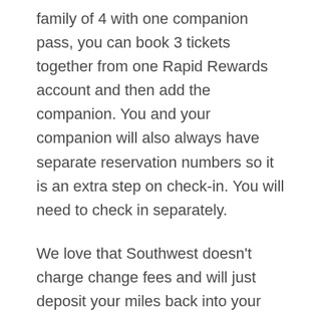family of 4 with one companion pass, you can book 3 tickets together from one Rapid Rewards account and then add the companion. You and your companion will also always have separate reservation numbers so it is an extra step on check-in. You will need to check in separately.
We love that Southwest doesn't charge change fees and will just deposit your miles back into your account as long as you cancel at least 10 minutes before your flight leaves! This benefit is not quite as good if you are booking with cash because cash funds are just reusable for 12 months from ticket purchase date and must be used by the person who had the flight booking. Points remain 100% flexible.
Occasionally we have run into problems with adding a